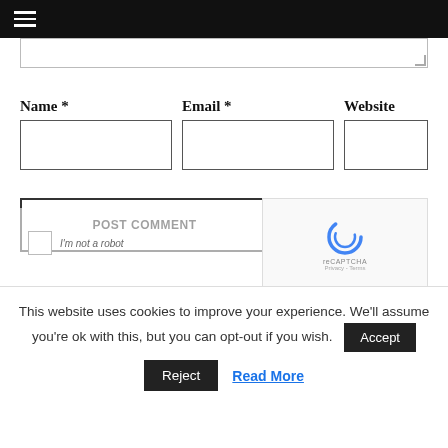☰ (hamburger menu icon)
[Figure (screenshot): Website comment form with Name, Email, Website fields, POST COMMENT button, reCAPTCHA widget, and Akismet spam notice. Cookie consent banner at bottom with Accept, Reject, and Read More options.]
Name * Email * Website
This site uses Akismet to reduce spam. Learn how your comment data is processed.
This website uses cookies to improve your experience. We'll assume you're ok with this, but you can opt-out if you wish.
Accept
Reject
Read More